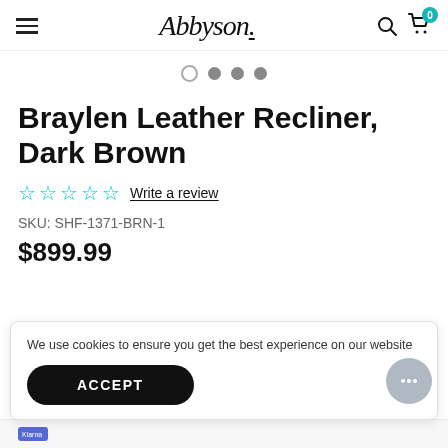Abbyson
[Figure (other): Carousel navigation dots: one open circle and three filled grey circles]
Braylen Leather Recliner, Dark Brown
☆☆☆☆☆ Write a review
SKU: SHF-1371-BRN-1
$899.99
We use cookies to ensure you get the best experience on our website
ACCEPT